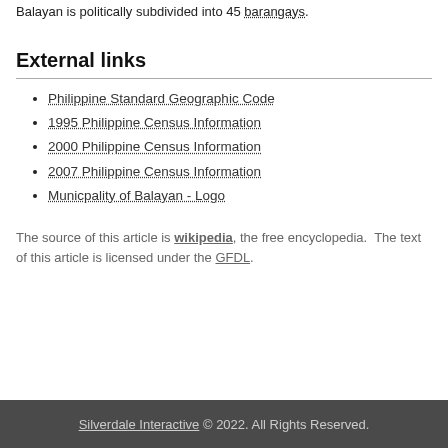Balayan is politically subdivided into 45 barangays.
External links
Philippine Standard Geographic Code
1995 Philippine Census Information
2000 Philippine Census Information
2007 Philippine Census Information
Municpality of Balayan - Logo
The source of this article is wikipedia, the free encyclopedia.  The text of this article is licensed under the GFDL.
Silverdale Interactive © 2022. All Rights Reserved.